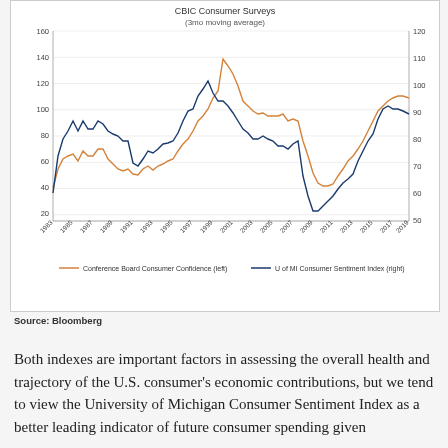[Figure (continuous-plot): Dual-axis line chart from 1983 to 2019. Orange line: Conference Board Consumer Confidence (left axis, 20-160). Blue line: U of MI Consumer Sentiment Index (right axis, 50-120). Both series show correlated cycles with troughs around 1991, 2009-2010, and peaks around 2000 and 2019.]
Source: Bloomberg
Both indexes are important factors in assessing the overall health and trajectory of the U.S. consumer's economic contributions, but we tend to view the University of Michigan Consumer Sentiment Index as a better leading indicator of future consumer spending given